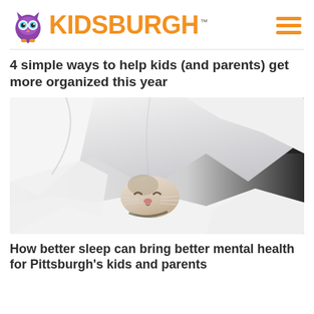KIDSBURGH
4 simple ways to help kids (and parents) get more organized this year
[Figure (photo): A cat sleeping peacefully tucked under white blankets/duvet, with only its face peeking out between the folds of white fabric.]
How better sleep can bring better mental health for Pittsburgh’s kids and parents